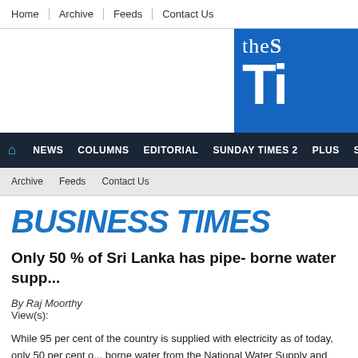Home | Archive | Feeds | Contact Us
[Figure (logo): The Sunday Times newspaper logo — blue box with white text 'the S' and 'TI' in large bold letters]
HOME NEWS COLUMNS EDITORIAL SUNDAY TIMES 2 PLUS SPORT
Archive Feeds Contact Us
BUSINESS TIMES
Only 50 % of Sri Lanka has pipe- borne water supp...
By Raj Moorthy
View(s):
While 95 per cent of the country is supplied with electricity as of today, only 50 per cent of... borne water from the National Water Supply and Drainage Board (NWSDB). The need fo...